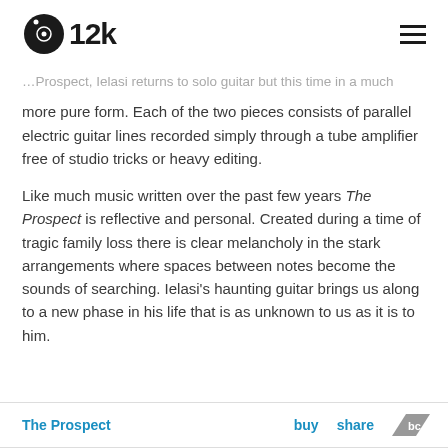i12k [logo]
...Prospect, Ielasi returns to solo guitar but this time in a much more pure form. Each of the two pieces consists of parallel electric guitar lines recorded simply through a tube amplifier free of studio tricks or heavy editing.
Like much music written over the past few years The Prospect is reflective and personal. Created during a time of tragic family loss there is clear melancholy in the stark arrangements where spaces between notes become the sounds of searching. Ielasi's haunting guitar brings us along to a new phase in his life that is as unknown to us as it is to him.
The Prospect  buy  share  bc